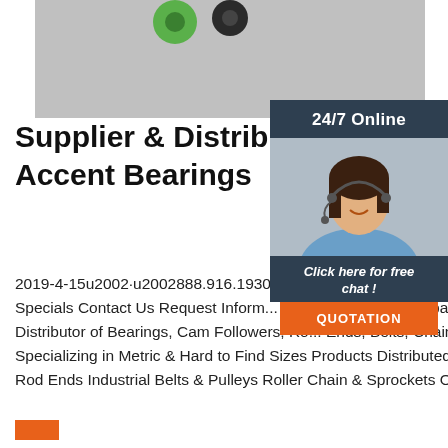[Figure (photo): Product image showing green and dark gray bearings/gears on a light gray background]
[Figure (photo): Chat widget showing '24/7 Online' header, a woman wearing a headset smiling, 'Click here for free chat!' text, and an orange QUOTATION button]
Supplier & Distributor of Seals-Illinois - Accent Bearings
2019-4-15u2002·u2002888.916.1930 sales@accentbearings.com Home About Us Card Specials Contact Us Request Information Accent Bearings Company is a Supplier & Distributor of Bearings, Cam Followers, Rod Ends, Belts, Chains & Sprockets Specializing in Metric & Hard to Find Sizes Products Distributed Bearings Cam Followers Rod Ends Industrial Belts & Pulleys Roller Chain & Sprockets Oil Seals …